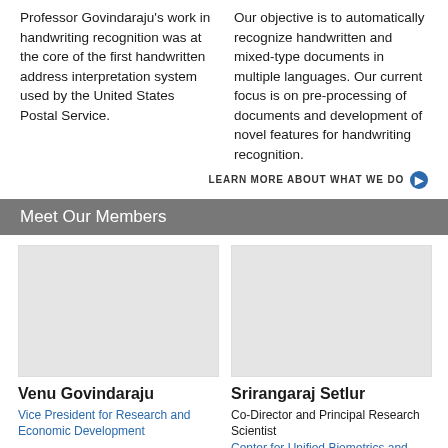Professor Govindaraju's work in handwriting recognition was at the core of the first handwritten address interpretation system used by the United States Postal Service.
Our objective is to automatically recognize handwritten and mixed-type documents in multiple languages. Our current focus is on pre-processing of documents and development of novel features for handwriting recognition.
LEARN MORE ABOUT WHAT WE DO
Meet Our Members
[Figure (photo): Placeholder photo for Venu Govindaraju]
Venu Govindaraju
Vice President for Research and Economic Development, University at Buffalo
SUNY Distinguished Professor,
[Figure (photo): Placeholder photo for Srirangaraj Setlur]
Srirangaraj Setlur
Co-Director and Principal Research Scientist
Center for Unified Biometrics and Sensors